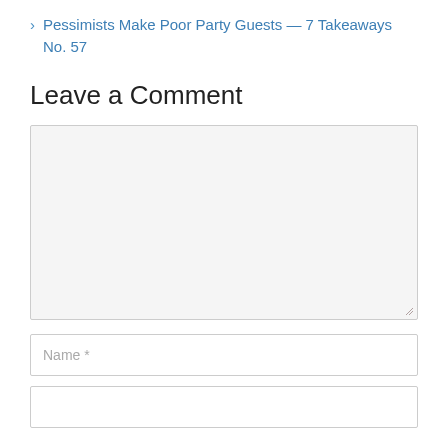Pessimists Make Poor Party Guests — 7 Takeaways No. 57
Leave a Comment
[Figure (other): Comment text area input field, empty, with light gray background and resize handle at bottom right]
[Figure (other): Name input field with placeholder text 'Name *']
[Figure (other): Partially visible input field at bottom of page]